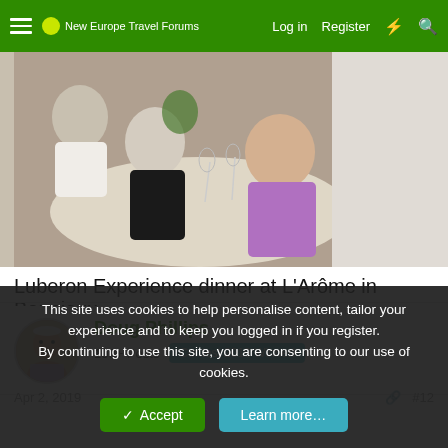New Europe Travel Forums — Log in   Register
[Figure (photo): Dinner scene at L'Arôme in Bonnieux showing several people seated at a table with wine glasses, a woman in a purple top prominent in the foreground.]
Luberon Experience dinner at L'Arôme in Bonnieux
Doug Phillips
100+ Posts  Contest 2019 Winner!
Apr 2, 2019  #12
This site uses cookies to help personalise content, tailor your experience and to keep you logged in if you register.
By continuing to use this site, you are consenting to our use of cookies.